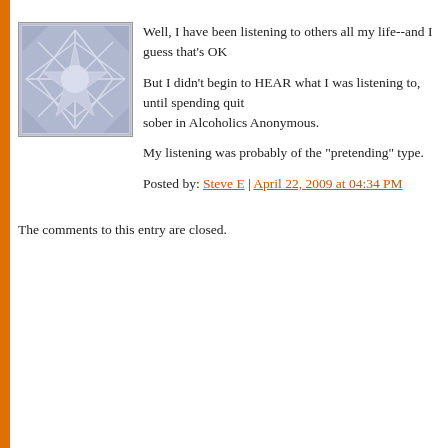[Figure (illustration): Decorative avatar image with a snowflake/star geometric pattern in blue and grey tones, inside a square frame with a light border.]
Well, I have been listening to others all my life--and I guess that's OK. But I didn't begin to HEAR what I was listening to, until spending quite a while sober in Alcoholics Anonymous.

My listening was probably of the "pretending" type.

Posted by: Steve E | April 22, 2009 at 04:34 PM
The comments to this entry are closed.